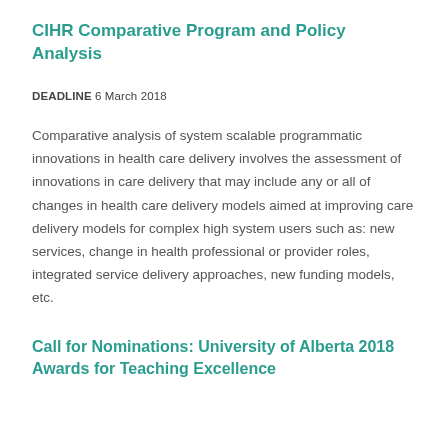CIHR Comparative Program and Policy Analysis
DEADLINE 6 March 2018
Comparative analysis of system scalable programmatic innovations in health care delivery involves the assessment of innovations in care delivery that may include any or all of changes in health care delivery models aimed at improving care delivery models for complex high system users such as: new services, change in health professional or provider roles, integrated service delivery approaches, new funding models, etc.
Call for Nominations: University of Alberta 2018 Awards for Teaching Excellence